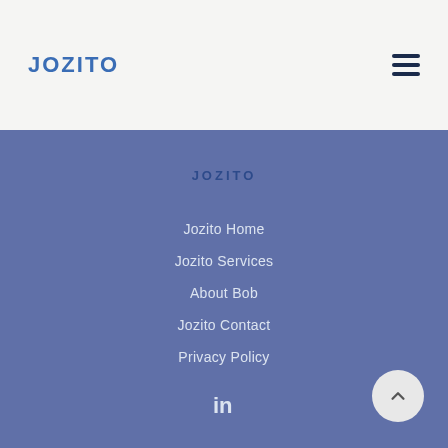JOZITO
JOZITO
Jozito Home
Jozito Services
About Bob
Jozito Contact
Privacy Policy
[Figure (logo): LinkedIn icon in footer]
[Figure (other): Scroll-to-top button with upward chevron arrow]